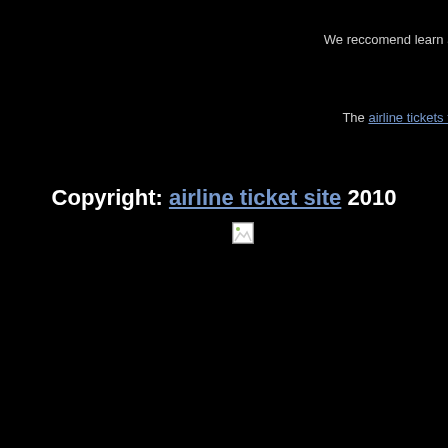We reccomend learn at
The airline tickets to
Copyright: airline ticket site 2010
[Figure (other): Broken image icon / placeholder image]